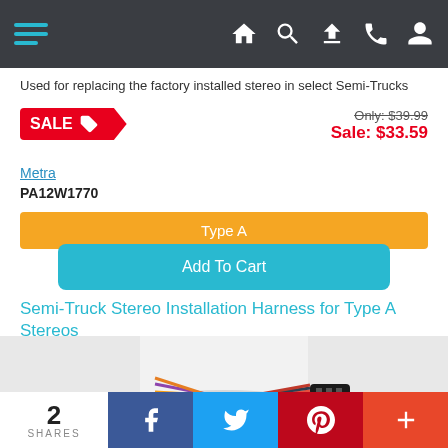Navigation bar with hamburger menu and icons
Used for replacing the factory installed stereo in select Semi-Trucks
SALE  Only: $39.99  Sale: $33.59
Metra
PA12W1770
Type A
Add To Cart
Semi-Truck Stereo Installation Harness for Type A Stereos
[Figure (photo): Photo of a wiring harness connector with multicolored wires on a light gray background]
2 SHARES  Facebook  Twitter  Pinterest  More